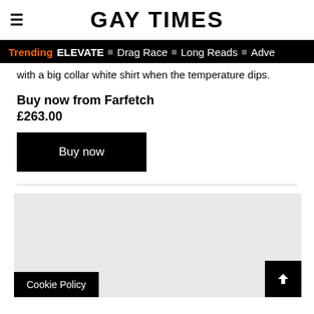GAY TIMES
Trending ELEVATE ▪ Drag Race ▪ Long Reads ▪ Adve
with a big collar white shirt when the temperature dips.
Buy now from Farfetch
£263.00
Buy now
[Figure (photo): Gray placeholder image area for product photo]
Cookie Policy